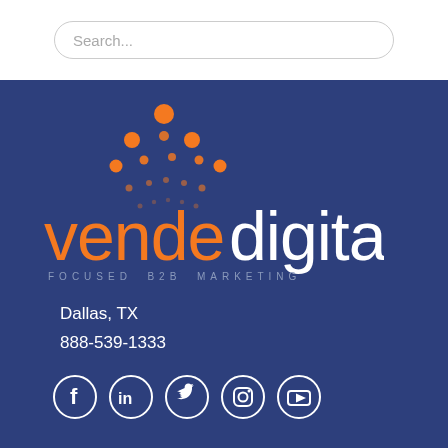Search...
[Figure (logo): Vende Digital logo with orange and white text on navy blue background, with orange dot pattern above the wordmark. Tagline: FOCUSED B2B MARKETING]
Dallas, TX
888-539-1333
[Figure (infographic): Social media icons: Facebook, LinkedIn, Twitter, Instagram, YouTube — white circles with white icons on navy background]